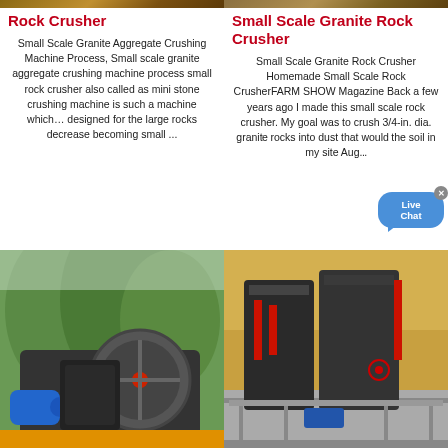[Figure (photo): Top banner photos of rock crusher machinery, split into two columns]
Rock Crusher
Small Scale Granite Rock Crusher
Small Scale Granite Aggregate Crushing Machine Process, Small scale granite aggregate crushing machine process small rock crusher also called as mini stone crushing machine is such a machine which… designed for the large rocks decrease becoming small ...
Small Scale Granite Rock Crusher Homemade Small Scale Rock CrusherFARM SHOW Magazine Back a few years ago I made this small scale rock crusher. My goal was to crush 3/4-in. dia. granite rocks into dust that would the soil in my site Aug...
[Figure (photo): Bottom left photo: industrial rock crusher machine with blue motor and large flywheel against mountain backdrop]
[Figure (photo): Bottom right photo: small scale granite rock crusher industrial equipment on a construction site with yellow gravel background]